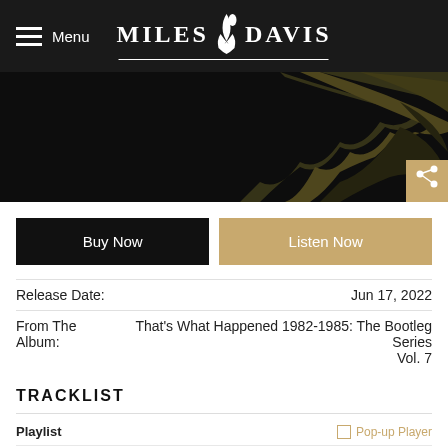Menu | MILES DAVIS
[Figure (photo): Dark hero image with golden tropical leaves on a black background, with a share/social button in the bottom right corner]
Buy Now
Listen Now
Release Date: Jun 17, 2022
From The Album: That's What Happened 1982-1985: The Bootleg Series Vol. 7
TRACKLIST
Playlist    □ Pop-up Player